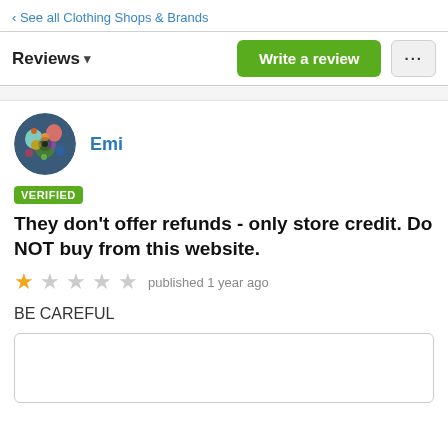‹ See all Clothing Shops & Brands
Reviews ▾   Write a review   ...
Emi
VERIFIED
They don't offer refunds - only store credit. Do NOT buy from this website.
★☆☆☆☆ published 1 year ago
BE CAREFUL